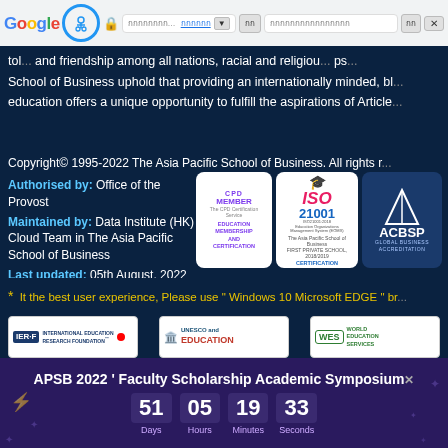Google browser navigation bar with URL bar and controls
tol... and friendship among all nations, racial and religious... ps... School of Business uphold that providing an internationally minded, bl... education offers a unique opportunity to fulfill the aspirations of Article...
Copyright© 1995-2022 The Asia Pacific School of Business. All rights r...
Authorised by: Office of the Provost
Maintained by: Data Institute (HK) Cloud Team in The Asia Pacific School of Business
Last updated: 05th August, 2022
[Figure (logo): CPD Member - Education Membership and Certification badge]
[Figure (logo): ISO 21001:2018 Certification badge]
[Figure (logo): ACBSP Global Business Accreditation badge]
* It the best user experience, Please use " Windows 10 Microsoft EDGE " br...
[Figure (logo): IERF International Education Research Foundation logo]
[Figure (logo): UNESCO and Education logo]
[Figure (logo): WES World Education Services logo]
APSB 2022 ' Faculty Scholarship Academic Symposium
51 Days  05 Hours  19 Minutes  33 Seconds